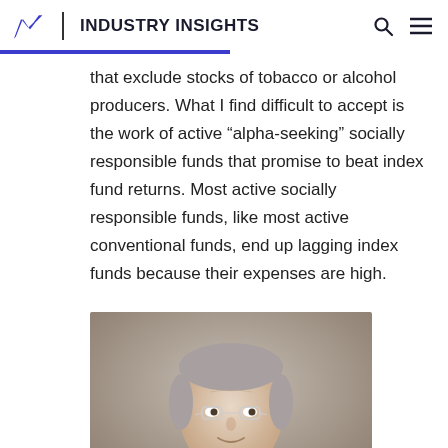INDUSTRY INSIGHTS
that exclude stocks of tobacco or alcohol producers. What I find difficult to accept is the work of active “alpha-seeking” socially responsible funds that promise to beat index fund returns. Most active socially responsible funds, like most active conventional funds, end up lagging index funds because their expenses are high.
[Figure (photo): Headshot portrait of a middle-aged man with gray hair and rimless glasses, wearing a dark suit, against a neutral gray-brown background.]